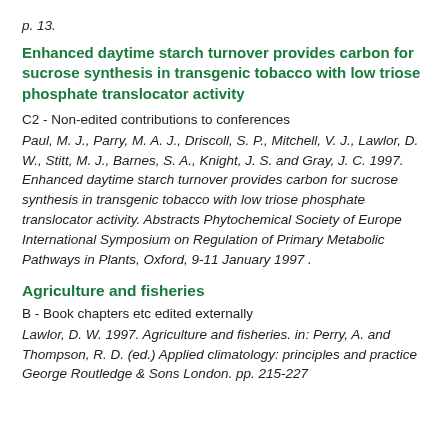p. 13.
Enhanced daytime starch turnover provides carbon for sucrose synthesis in transgenic tobacco with low triose phosphate translocator activity
C2 - Non-edited contributions to conferences
Paul, M. J., Parry, M. A. J., Driscoll, S. P., Mitchell, V. J., Lawlor, D. W., Stitt, M. J., Barnes, S. A., Knight, J. S. and Gray, J. C. 1997. Enhanced daytime starch turnover provides carbon for sucrose synthesis in transgenic tobacco with low triose phosphate translocator activity. Abstracts Phytochemical Society of Europe International Symposium on Regulation of Primary Metabolic Pathways in Plants, Oxford, 9-11 January 1997 .
Agriculture and fisheries
B - Book chapters etc edited externally
Lawlor, D. W. 1997. Agriculture and fisheries. in: Perry, A. and Thompson, R. D. (ed.) Applied climatology: principles and practice George Routledge & Sons London. pp. 215-227